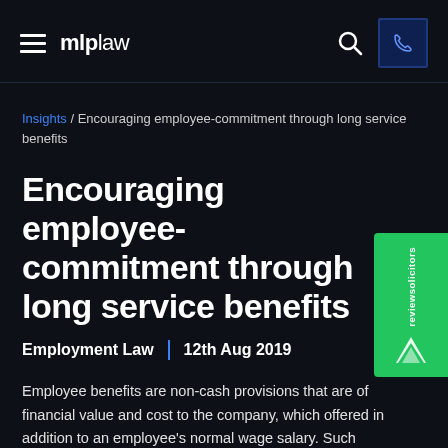mlplaw
Insights / Encouraging employee-commitment through long service benefits
Encouraging employee-commitment through long service benefits
Employment Law | 12th Aug 2019
Employee benefits are non-cash provisions that are of financial value and cost to the company, which offered in addition to an employee's normal wage salary. Such benefits are a brilliant way to encourage loyalty from your employees and increase overall workplace morale. Benefits could include a gym